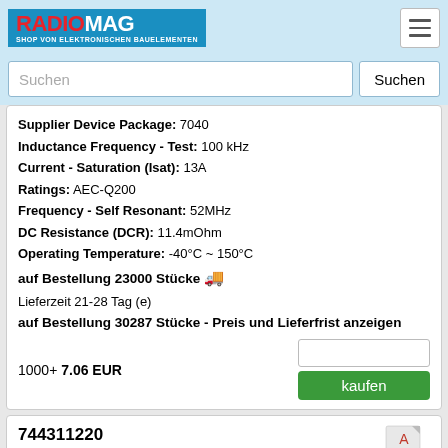RADIOMAG - SHOP VON ELEKTRONISCHEN BAUELEMENTEN
Suchen
Supplier Device Package: 7040
Inductance Frequency - Test: 100 kHz
Current - Saturation (Isat): 13A
Ratings: AEC-Q200
Frequency - Self Resonant: 52MHz
DC Resistance (DCR): 11.4mOhm
Operating Temperature: -40°C ~ 150°C
auf Bestellung 23000 Stücke
Lieferzeit 21-28 Tag (e)
auf Bestellung 30287 Stücke - Preis und Lieferfrist anzeigen
1000+ 7.06 EUR
744311220
Hersteller: Würth Elektronik
Description: FIXED IND 2.2UH 9A 11.4 MOHM SMD
Mounting Type: Surface Mount
Inductance: 2.2 μH
Part Status: Active